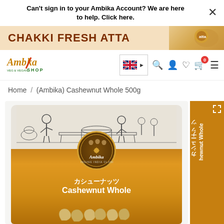Can't sign in to your Ambika Account? We are here to help. Click here.
[Figure (screenshot): Ambika Shop website screenshot showing navigation bar with logo, UK flag language selector, search/account/wishlist/cart icons, a Chakki Fresh Atta banner, breadcrumb navigation showing Home / (Ambika) Cashewnut Whole 500g, and a product image of Ambika Cashewnut Whole packaging]
Home / (Ambika) Cashewnut Whole 500g